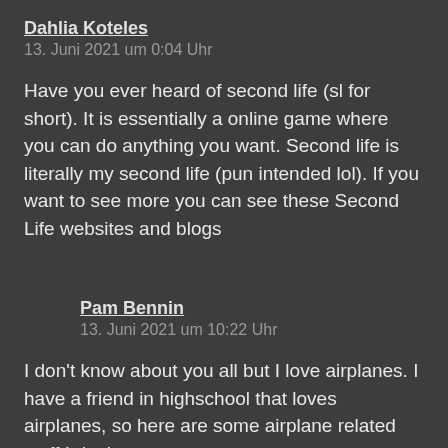Dahlia Koteles
13. Juni 2021 um 0:04 Uhr
Have you ever heard of second life (sl for short). It is essentially a online game where you can do anything you want. Second life is literally my second life (pun intended lol). If you want to see more you can see these Second Life websites and blogs
Pam Bennin
13. Juni 2021 um 10:22 Uhr
I don't know about you all but I love airplanes. I have a friend in highschool that loves airplanes, so here are some airplane related stuff I don't